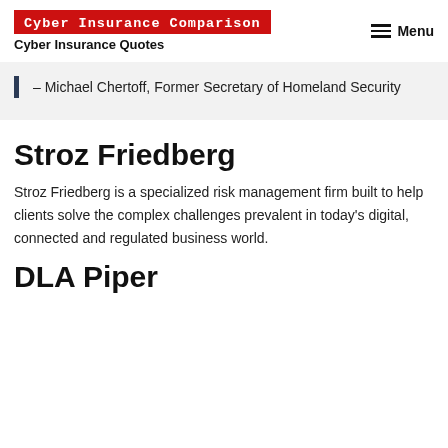Cyber Insurance Comparison | Cyber Insurance Quotes | Menu
– Michael Chertoff, Former Secretary of Homeland Security
Stroz Friedberg
Stroz Friedberg is a specialized risk management firm built to help clients solve the complex challenges prevalent in today's digital, connected and regulated business world.
DLA Piper